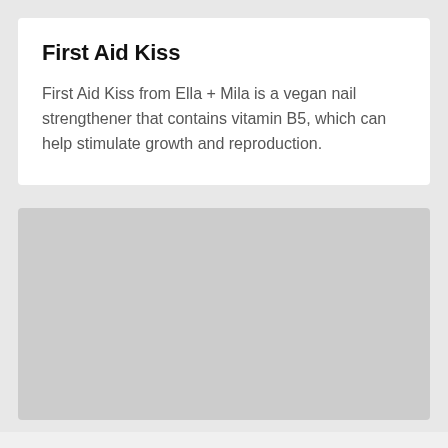First Aid Kiss
First Aid Kiss from Ella + Mila is a vegan nail strengthener that contains vitamin B5, which can help stimulate growth and reproduction.
[Figure (photo): Gray placeholder image representing a product photo]